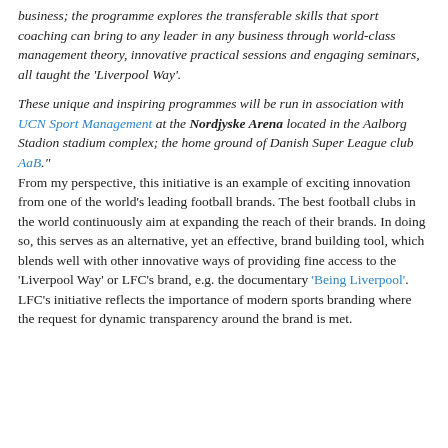business; the programme explores the transferable skills that sport coaching can bring to any leader in any business through world-class management theory, innovative practical sessions and engaging seminars, all taught the 'Liverpool Way'.
These unique and inspiring programmes will be run in association with UCN Sport Management at the Nordjyske Arena located in the Aalborg Stadion stadium complex; the home ground of Danish Super League club AaB." From my perspective, this initiative is an example of exciting innovation from one of the world's leading football brands. The best football clubs in the world continuously aim at expanding the reach of their brands. In doing so, this serves as an alternative, yet an effective, brand building tool, which blends well with other innovative ways of providing fine access to the 'Liverpool Way' or LFC's brand, e.g. the documentary 'Being Liverpool'.  LFC's initiative reflects the importance of modern sports branding where the request for dynamic transparency around the brand is met.